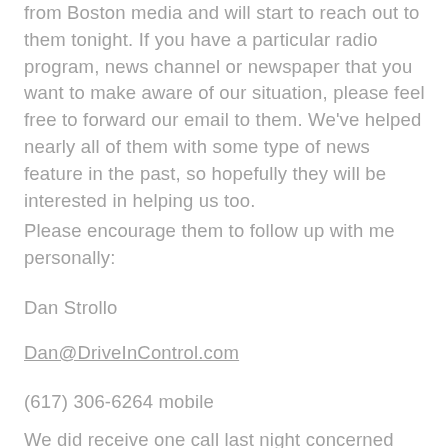from Boston media and will start to reach out to them tonight. If you have a particular radio program, news channel or newspaper that you want to make aware of our situation, please feel free to forward our email to them. We've helped nearly all of them with some type of news feature in the past, so hopefully they will be interested in helping us too.
Please encourage them to follow up with me personally:
Dan Strollo
Dan@DriveInControl.com
(617) 306-6264 mobile
We did receive one call last night concerned